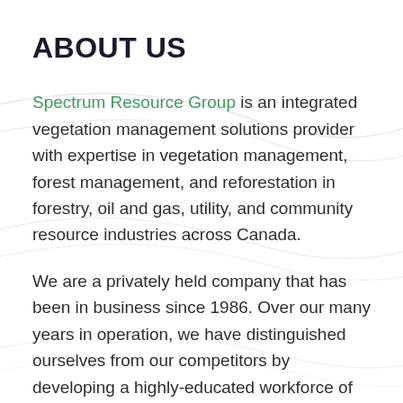ABOUT US
Spectrum Resource Group is an integrated vegetation management solutions provider with expertise in vegetation management, forest management, and reforestation in forestry, oil and gas, utility, and community resource industries across Canada.
We are a privately held company that has been in business since 1986. Over our many years in operation, we have distinguished ourselves from our competitors by developing a highly-educated workforce of